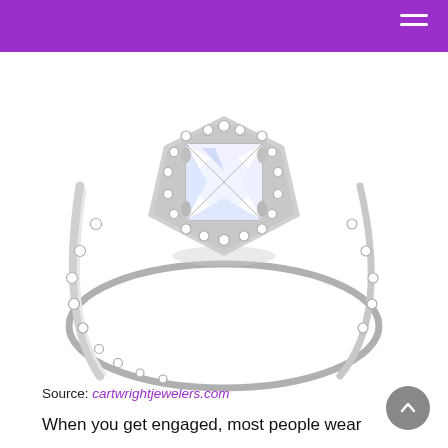[Figure (photo): A white gold halo engagement ring with an asscher-cut or square center diamond surrounded by a halo of small round diamonds, and additional round diamonds set along the band, on a white background.]
Source: cartwrightjewelers.com
When you get engaged, most people wear